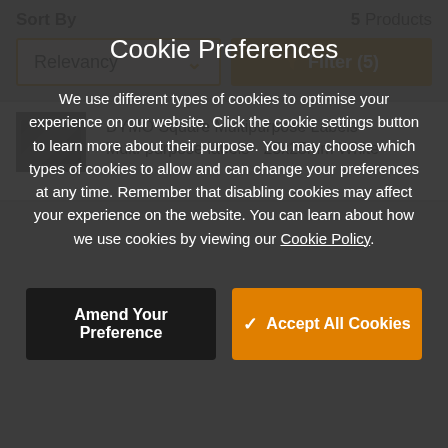Sort By
5 Products
Relevancy
Filter (5)
DYMO Square Multipurpose Labels - Multi-purpose labels - 25x25mm White
Cookie Preferences
We use different types of cookies to optimise your experience on our website. Click the cookie settings button to learn more about their purpose. You may choose which types of cookies to allow and can change your preferences at any time. Remember that disabling cookies may affect your experience on the website. You can learn about how we use cookies by viewing our Cookie Policy.
Amend Your Preference
Accept All Cookies